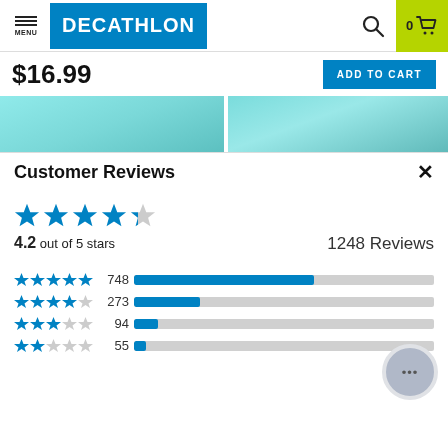[Figure (screenshot): Decathlon website navigation bar with hamburger menu, Decathlon blue logo, search icon, and cart with 0 items on yellow-green background]
$16.99
ADD TO CART
[Figure (photo): Two cropped product images showing aqua/teal colored swimming pool or inflatable product]
Customer Reviews
4.2 out of 5 stars
1248 Reviews
[Figure (bar-chart): Rating breakdown]